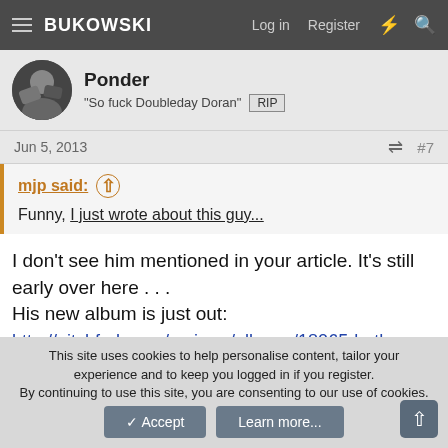BUKOWSKI — Log in  Register
Ponder
"So fuck Doubleday Doran"  RIP
Jun 5, 2013   #7
mjp said:
Funny, I just wrote about this guy...
I don't see him mentioned in your article. It's still early over here . . .
His new album is just out:
http://pitchfork.com/reviews/albums/18065-baths-obsidian/
This site uses cookies to help personalise content, tailor your experience and to keep you logged in if you register.
By continuing to use this site, you are consenting to our use of cookies.
Accept   Learn more...